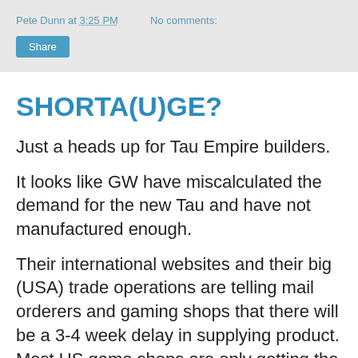Pete Dunn at 3:25 PM   No comments:
Share
SHORTA(U)GE?
Just a heads up for Tau Empire builders.
It looks like GW have miscalculated the demand for the new Tau and have not manufactured enough.
Their international websites and their big (USA) trade operations are telling mail orderers and gaming shops that there will be a 3-4 week delay in supplying product. Most US game shops are only getting the codex.
Of course the internet conspiracy theorists have gone mad and are suggesting that this is another scheme from GW to force people into their shops. Indeed some are saying there isn't a shortage at all but this is a beatup by GW to scare.